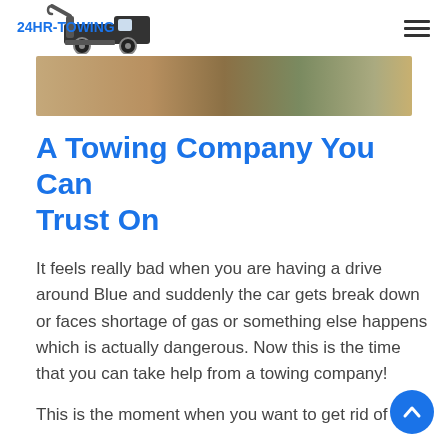24HR-TOWING
[Figure (photo): Hero image showing a road or gravel surface from above, partial view of a yellow stripe or marking]
A Towing Company You Can Trust On
It feels really bad when you are having a drive around Blue and suddenly the car gets break down or faces shortage of gas or something else happens which is actually dangerous. Now this is the time that you can take help from a towing company!
This is the moment when you want to get rid of